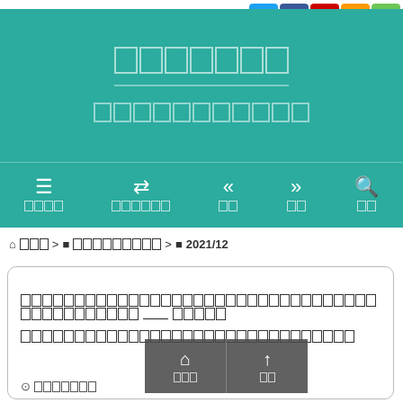[Figure (screenshot): Social media icon bar with Twitter, Facebook, YouTube, RSS, and Feedly icons]
xxxxxxx
xxxxxxxxxxx
[Figure (screenshot): Navigation bar with menu icons: xxxx, xxxxxx, xx, xx, xx]
⌂ xxx > ■ xxxxxxxxx > ■ 2021/12
xxxxxxxxxxxxxxxxxxxxxxxxxxxxxxxxxxxxxxxxxxxxxxxxxxxxxxxxx —— xxxxx xxxxxxxxxxxxxxxxxxxxxxxxxxxxxxxxxxxxxxxxxx
xxx | xx
2021/12/6